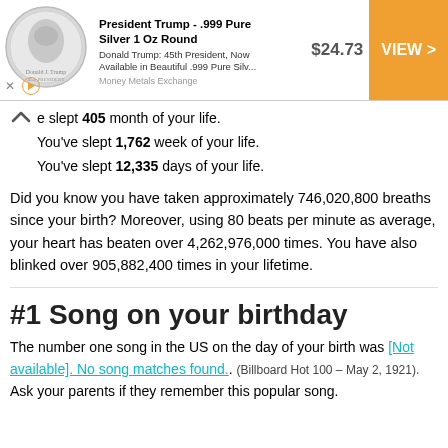[Figure (infographic): Advertisement banner for President Trump .999 Pure Silver 1 Oz Round coin, showing a silver coin image, product title, description, price $24.73, and an orange VIEW button]
e slept 405 month of your life.
You've slept 1,762 week of your life.
You've slept 12,335 days of your life.
Did you know you have taken approximately 746,020,800 breaths since your birth? Moreover, using 80 beats per minute as average, your heart has beaten over 4,262,976,000 times. You have also blinked over 905,882,400 times in your lifetime.
#1 Song on your birthday
The number one song in the US on the day of your birth was [Not available]. No song matches found.. (Billboard Hot 100 – May 2, 1921). Ask your parents if they remember this popular song.